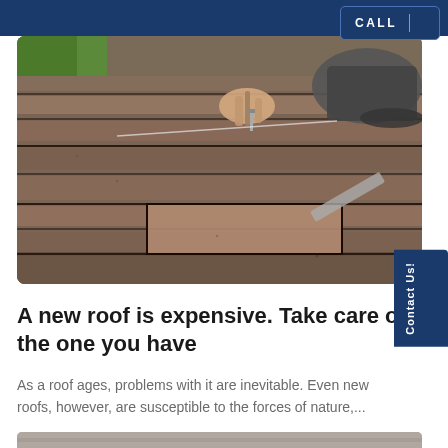CALL
[Figure (photo): A person working on a roof, installing or replacing asphalt shingles. A hand holding a nail and a boot/shoe visible on a close-up of roof shingles.]
Contact Us!
A new roof is expensive. Take care of the one you have
As a roof ages, problems with it are inevitable. Even new roofs, however, are susceptible to the forces of nature,...
[Figure (photo): Bottom portion of a second article image partially visible at the bottom of the page, appears to show a roof or building.]